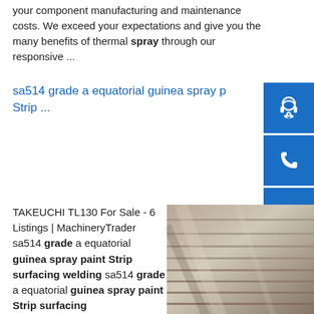your component manufacturing and maintenance costs. We exceed your expectations and give you the many benefits of thermal spray through our responsive ...
sa514 grade a equatorial guinea spray paint Strip ...
[Figure (illustration): Blue sidebar with headset icon, phone icon, and Skype icon buttons]
TAKEUCHI TL130 For Sale - 6 Listings | MachineryTrader sa514 grade a equatorial guinea spray paint Strip surfacing welding sa514 grade a equatorial guinea spray paint Strip surfacing welding
[Figure (photo): Photo of stacked steel plates/sheets]
weldingMay 10, 2021 · 2008 Takeuchi TL130 Skid Steer. Showing 4320 Hours. 67 hp Tracks are in decent shape.sp.info sa709grade hps70w guinea-bissau spray paint - NIKA ...10/10(19)SA709Grade HPS70W Morocco Spray paint - SS400 sa709grade hps70w guinea-bissau spray paint. SA709Grade HPS70W Morocco Spray paint